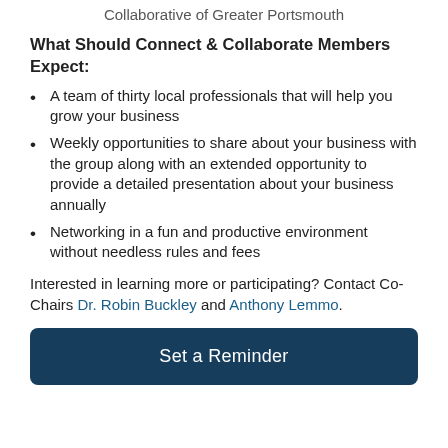Collaborative of Greater Portsmouth
What Should Connect & Collaborate Members Expect:
A team of thirty local professionals that will help you grow your business
Weekly opportunities to share about your business with the group along with an extended opportunity to provide a detailed presentation about your business annually
Networking in a fun and productive environment without needless rules and fees
Interested in learning more or participating? Contact Co-Chairs Dr. Robin Buckley and Anthony Lemmo.
Set a Reminder